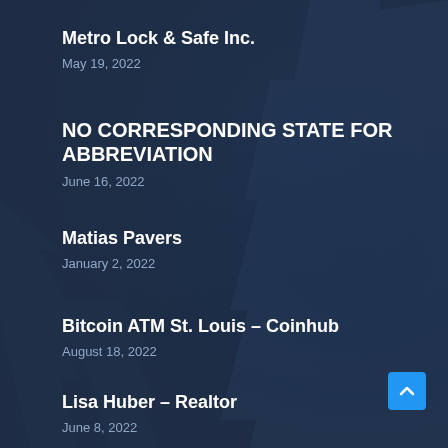Metro Lock & Safe Inc.
May 19, 2022
NO CORRESPONDING STATE FOR ABBREVIATION
June 16, 2022
Matias Pavers
January 2, 2022
Bitcoin ATM St. Louis – Coinhub
August 18, 2022
Lisa Huber – Realtor
June 8, 2022